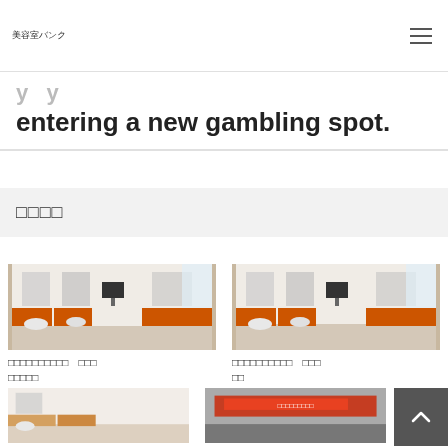美容室バンク
entering a new gambling spot.
□□□□
[Figure (photo): Interior of a hair salon with orange and white chairs and styling stations, left card]
□□□□□□□□□□　□□□
□□□□□
[Figure (photo): Interior of a hair salon with orange and white chairs and styling stations, right card]
□□□□□□□□□□　□□□
□□
[Figure (photo): Interior of a hair salon or beauty shop, bottom left]
[Figure (photo): Exterior of a shop with red signage, bottom right]